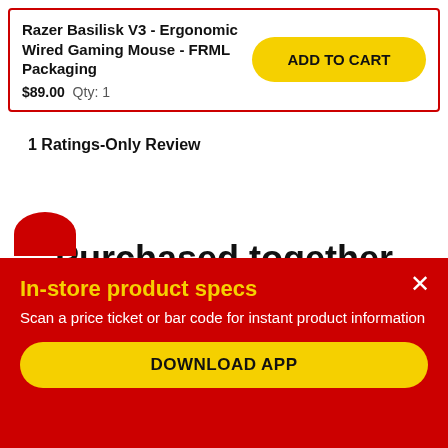Razer Basilisk V3 - Ergonomic Wired Gaming Mouse - FRML Packaging
$89.00  Qty: 1
ADD TO CART
1 Ratings-Only Review
Purchased together
In-store product specs
Scan a price ticket or bar code for instant product information
DOWNLOAD APP